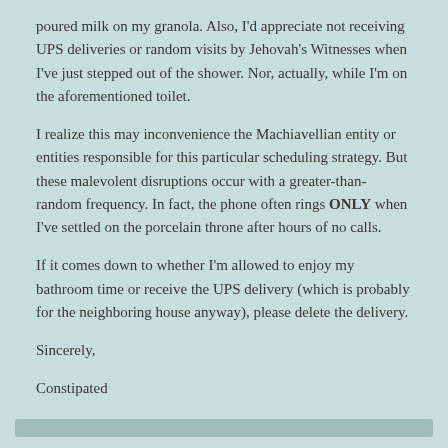poured milk on my granola. Also, I'd appreciate not receiving UPS deliveries or random visits by Jehovah's Witnesses when I've just stepped out of the shower. Nor, actually, while I'm on the aforementioned toilet.
I realize this may inconvenience the Machiavellian entity or entities responsible for this particular scheduling strategy. But these malevolent disruptions occur with a greater-than-random frequency. In fact, the phone often rings ONLY when I've settled on the porcelain throne after hours of no calls.
If it comes down to whether I'm allowed to enjoy my bathroom time or receive the UPS delivery (which is probably for the neighboring house anyway), please delete the delivery.
Sincerely,

Constipated
[Figure (other): Horizontal divider bar in muted teal/grey color]
MAY 13, 2014
Letters Not Sent